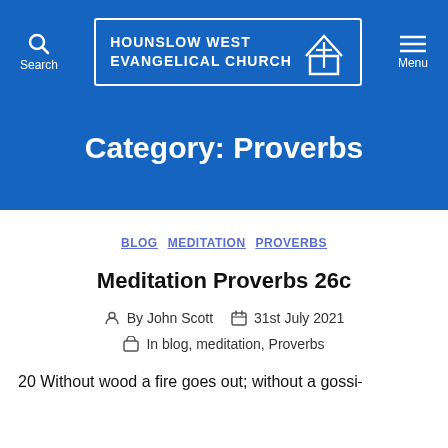Hounslow West Evangelical Church
Category: Proverbs
BLOG   MEDITATION   PROVERBS
Meditation Proverbs 26c
By John Scott   31st July 2021
In blog, meditation, Proverbs
20 Without wood a fire goes out; without a gossip...